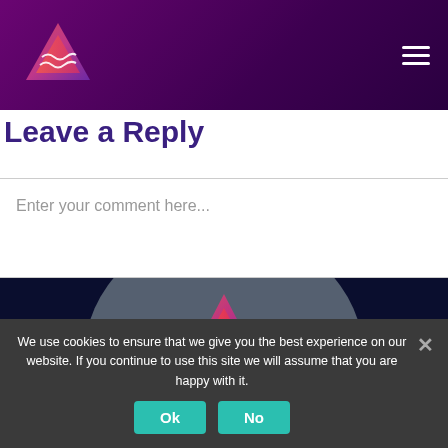[Figure (logo): Savvy Training logo - triangle/mountain shape with gradient colors (pink, orange, purple) with wavy lines, on dark purple header bar]
Leave a Reply
Enter your comment here...
[Figure (logo): Savvy Training logo larger version on dark navy background with gray semicircle behind it]
Savvy Training
We use cookies to ensure that we give you the best experience on our website. If you continue to use this site we will assume that you are happy with it.